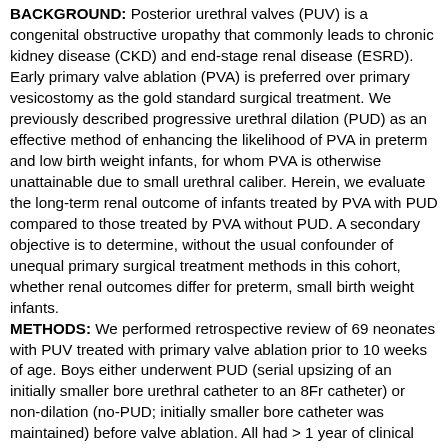BACKGROUND: Posterior urethral valves (PUV) is a congenital obstructive uropathy that commonly leads to chronic kidney disease (CKD) and end-stage renal disease (ESRD). Early primary valve ablation (PVA) is preferred over primary vesicostomy as the gold standard surgical treatment. We previously described progressive urethral dilation (PUD) as an effective method of enhancing the likelihood of PVA in preterm and low birth weight infants, for whom PVA is otherwise unattainable due to small urethral caliber. Herein, we evaluate the long-term renal outcome of infants treated by PVA with PUD compared to those treated by PVA without PUD. A secondary objective is to determine, without the usual confounder of unequal primary surgical treatment methods in this cohort, whether renal outcomes differ for preterm, small birth weight infants.
METHODS: We performed retrospective review of 69 neonates with PUV treated with primary valve ablation prior to 10 weeks of age. Boys either underwent PUD (serial upsizing of an initially smaller bore urethral catheter to an 8Fr catheter) or non-dilation (no-PUD; initially smaller bore catheter was maintained) before valve ablation. All had > 1 year of clinical and laboratory follow up. Demographics and clinical features were assessed initially using descriptive statistics with chi-square and t-test. Univariable and multivariable logistic regression were performed to assess the effect of PUD,